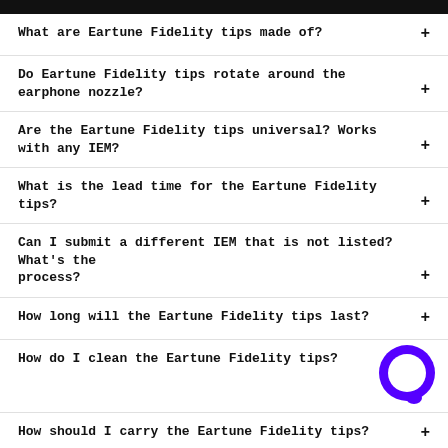What are Eartune Fidelity tips made of?
Do Eartune Fidelity tips rotate around the earphone nozzle?
Are the Eartune Fidelity tips universal? Works with any IEM?
What is the lead time for the Eartune Fidelity tips?
Can I submit a different IEM that is not listed? What's the process?
How long will the Eartune Fidelity tips last?
How do I clean the Eartune Fidelity tips?
How should I carry the Eartune Fidelity tips?